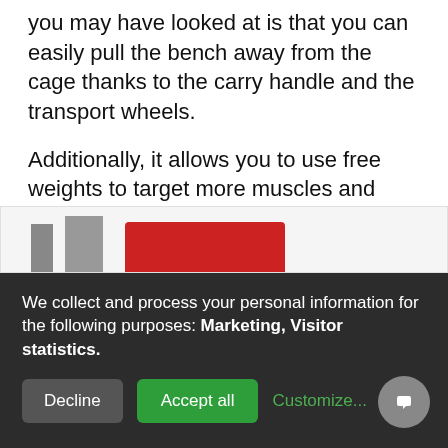you may have looked at is that you can easily pull the bench away from the cage thanks to the carry handle and the transport wheels.
Additionally, it allows you to use free weights to target more muscles and provide a more rounded, balanced workout experience while also being compatible with a 7-ft Olympic bar.
[Figure (photo): Partial view of home gym cage equipment showing bars and red weight components]
We collect and process your personal information for the following purposes: Marketing, Visitor statistics.